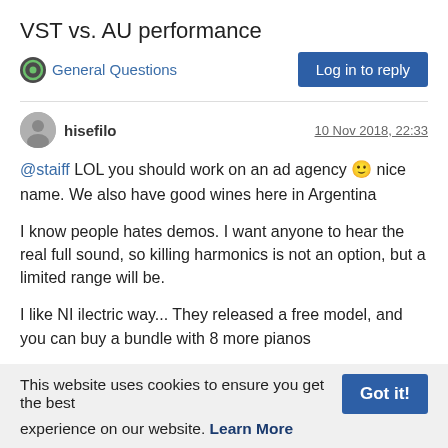VST vs. AU performance
General Questions
Log in to reply
hisefilo
10 Nov 2018, 22:33
@staiff LOL you should work on an ad agency 🙂 nice name. We also have good wines here in Argentina

I know people hates demos. I want anyone to hear the real full sound, so killing harmonics is not an option, but a limited range will be.

I like NI ilectric way... They released a free model, and you can buy a bundle with 8 more pianos
This website uses cookies to ensure you get the best
Got it!
experience on our website. Learn More
hisefilo
11 Nov 2018, 09:50